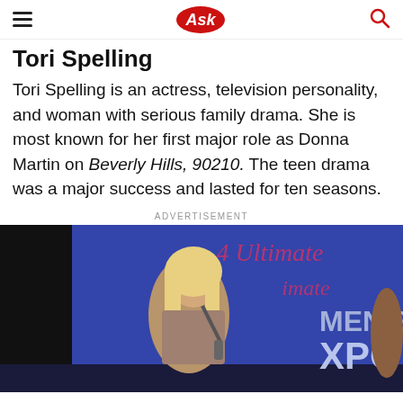Ask
Tori Spelling
Tori Spelling is an actress, television personality, and woman with serious family drama. She is most known for her first major role as Donna Martin on Beverly Hills, 90210. The teen drama was a major success and lasted for ten seasons.
ADVERTISEMENT
[Figure (photo): Tori Spelling speaking into a microphone at the Ultimate Women's Expo event, with a purple background showing the event branding in cursive and bold text.]